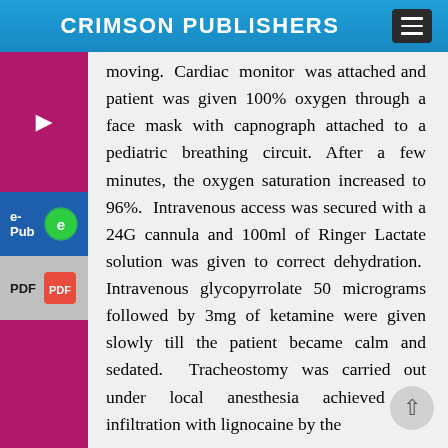CRIMSON PUBLISHERS
moving. Cardiac monitor was attached and patient was given 100% oxygen through a face mask with capnograph attached to a pediatric breathing circuit. After a few minutes, the oxygen saturation increased to 96%. Intravenous access was secured with a 24G cannula and 100ml of Ringer Lactate solution was given to correct dehydration. Intravenous glycopyrrolate 50 micrograms followed by 3mg of ketamine were given slowly till the patient became calm and sedated. Tracheostomy was carried out under local anesthesia achieved by infiltration with lignocaine by the